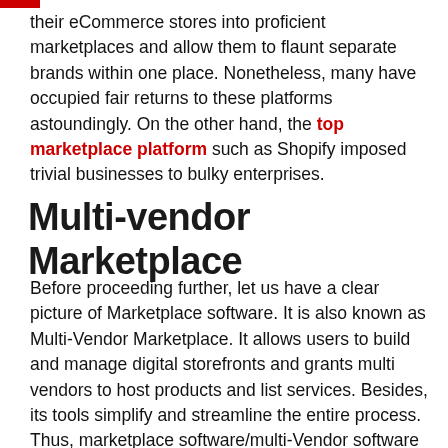their eCommerce stores into proficient marketplaces and allow them to flaunt separate brands within one place. Nonetheless, many have occupied fair returns to these platforms astoundingly. On the other hand, the top marketplace platform such as Shopify imposed trivial businesses to bulky enterprises.
Multi-vendor Marketplace
Before proceeding further, let us have a clear picture of Marketplace software. It is also known as Multi-Vendor Marketplace. It allows users to build and manage digital storefronts and grants multi vendors to host products and list services. Besides, its tools simplify and streamline the entire process. Thus, marketplace software/multi-Vendor software facilitates the creation, hosting, and managing of the online